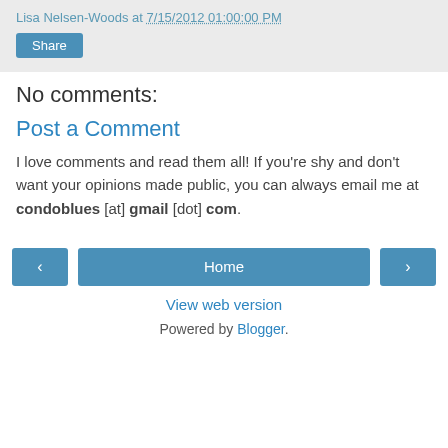Lisa Nelsen-Woods at 7/15/2012 01:00:00 PM
Share
No comments:
Post a Comment
I love comments and read them all! If you're shy and don't want your opinions made public, you can always email me at condoblues [at] gmail [dot] com.
< Home >
View web version
Powered by Blogger.